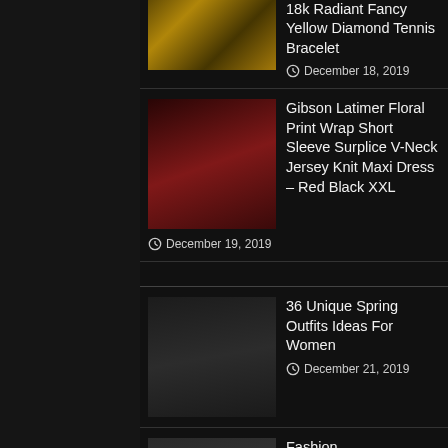[Figure (screenshot): Fashion blog / e-commerce listing page with dark background showing product items with thumbnail images and titles]
Rahaminov Diamonds 18k Radiant Fancy Yellow Diamond Tennis Bracelet — December 18, 2019
Gibson Latimer Floral Print Wrap Short Sleeve Surplice V-Neck Jersey Knit Maxi Dress – Red Black XXL — December 19, 2019
36 Unique Spring Outfits Ideas For Women — December 21, 2019
Fashion — December 19, 2019
Pink linen skirt, Summer MIDI skirt, long skirt, circle skirt, gypsy skirt, Midi Skirt, floral pleated skirt, maxi skirt,